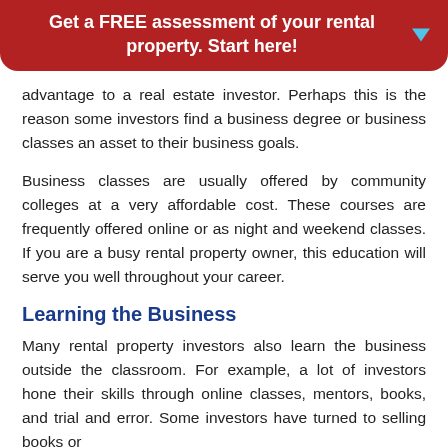Get a FREE assessment of your rental property. Start here!
advantage to a real estate investor. Perhaps this is the reason some investors find a business degree or business classes an asset to their business goals.
Business classes are usually offered by community colleges at a very affordable cost. These courses are frequently offered online or as night and weekend classes. If you are a busy rental property owner, this education will serve you well throughout your career.
Learning the Business
Many rental property investors also learn the business outside the classroom. For example, a lot of investors hone their skills through online classes, mentors, books, and trial and error. Some investors have turned to selling books or